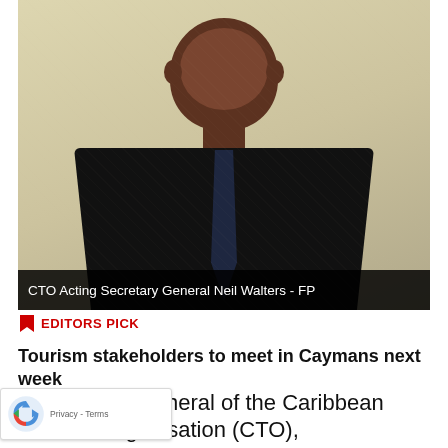[Figure (photo): CTO Acting Secretary General Neil Walters, a man in a dark suit with light blue shirt and dark patterned tie, photographed from mid-torso up against a beige/cream background.]
CTO Acting Secretary General Neil Walters - FP
EDITORS PICK
Tourism stakeholders to meet in Caymans next week
g Secretary General of the Caribbean Tourism Organisation (CTO),